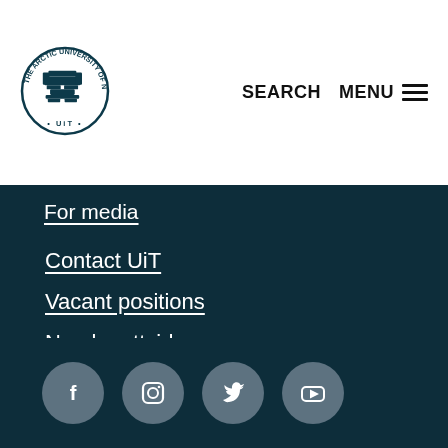[Figure (logo): The Arctic University of Norway – UiT circular logo with eagle emblem]
SEARCH   MENU ☰
For media
Contact UiT
Vacant positions
Norsk nettside
Sign in
[Figure (illustration): Social media icons row: Facebook, Instagram, Twitter, YouTube – grey circular buttons on dark background]